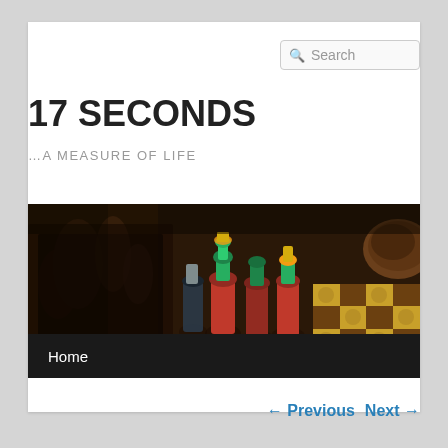Search
17 SECONDS
…A MEASURE OF LIFE
[Figure (photo): Close-up photo of colorful decorative chess pieces on a chess board with alternating yellow and brown squares. Pieces are painted in green, red, and gold. Out-of-focus chess pieces visible on the left side.]
Home
← Previous  Next →